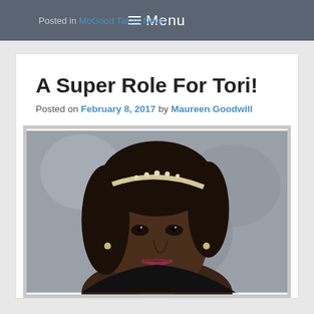≡ Menu
Posted in MoGood Talent News
A Super Role For Tori!
Posted on February 8, 2017 by Maureen Goodwill
[Figure (photo): Portrait photo of a young Black woman with long dark hair, a pearl headband, wearing a dark top, looking directly at camera against a grey blurred background.]